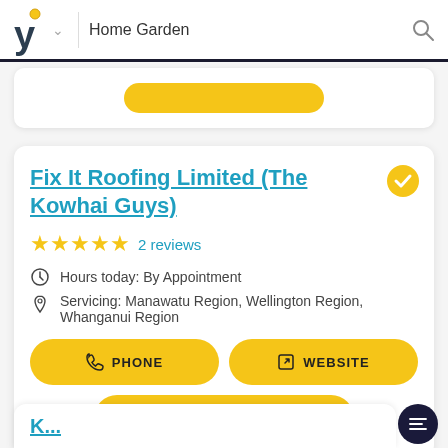Home Garden
Fix It Roofing Limited (The Kowhai Guys)
★★★★★ 2 reviews
Hours today: By Appointment
Servicing: Manawatu Region, Wellington Region, Whanganui Region
PHONE
WEBSITE
MORE INFO